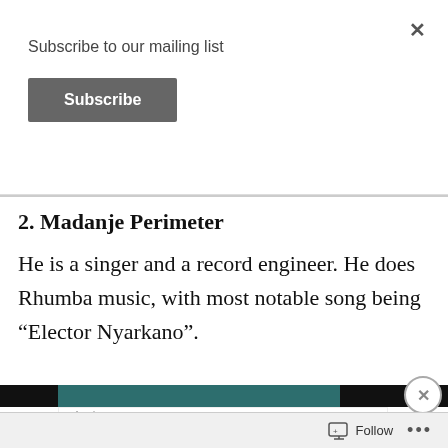Subscribe to our mailing list
Subscribe
2. Madanje Perimeter
He is a singer and a record engineer. He does Rhumba music, with most notable song being “Elector Nyarkano”.
Advertisements
The Platform Where
Follow